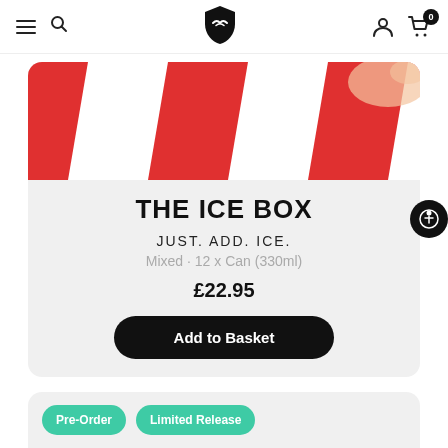Navigation bar with hamburger menu, search icon, brand logo, user icon, and cart with 0 items
[Figure (photo): Close-up of red and white striped can or product packaging held by a hand]
THE ICE BOX
JUST. ADD. ICE.
Mixed · 12 x Can (330ml)
£22.95
Add to Basket
Pre-Order
Limited Release